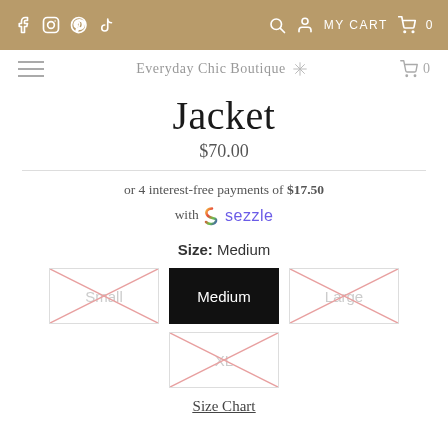Social icons: Facebook, Instagram, Pinterest, TikTok | MY CART 0
Everyday Chic Boutique | Cart 0
Jacket
$70.00
or 4 interest-free payments of $17.50 with sezzle
Size: Medium
[Figure (other): Size selection buttons: Small (crossed out, unavailable), Medium (selected, black background), Large (crossed out, unavailable), XL (crossed out, unavailable)]
Size Chart